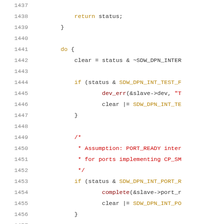Source code listing, lines 1437-1457, C language kernel/driver code showing a do-loop with interrupt handling for SoundWire DPN interface.